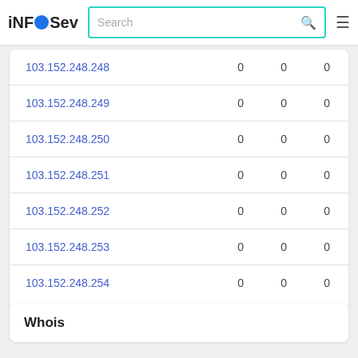iNFOSev [search bar] [hamburger menu]
| IP |  |  |  |
| --- | --- | --- | --- |
| 103.152.248.248 | 0 | 0 | 0 |
| 103.152.248.249 | 0 | 0 | 0 |
| 103.152.248.250 | 0 | 0 | 0 |
| 103.152.248.251 | 0 | 0 | 0 |
| 103.152.248.252 | 0 | 0 | 0 |
| 103.152.248.253 | 0 | 0 | 0 |
| 103.152.248.254 | 0 | 0 | 0 |
Whois